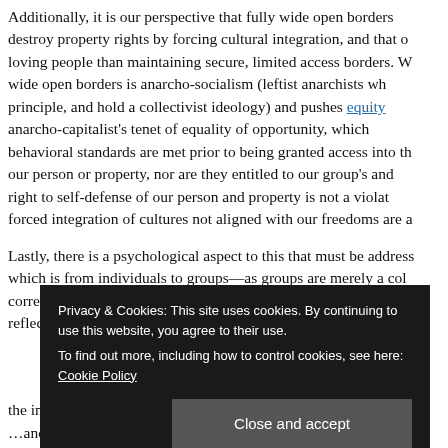Additionally, it is our perspective that fully wide open borders destroy property rights by forcing cultural integration, and that o- loving people than maintaining secure, limited access borders. W- wide open borders is anarcho-socialism (leftist anarchists wh- principle, and hold a collectivist ideology) and pushes equity… anarcho-capitalist's tenet of equality of opportunity, which behavioral standards are met prior to being granted access into th- our person or property, nor are they entitled to our group's and- right to self-defense of our person and property is not a violat- forced integration of cultures not aligned with our freedoms are a
Lastly, there is a psychological aspect to this that must be address- which is from individuals to groups—as groups are merely a col- correspondence, and is one of the Seven Hermetic Principles, reflection of what is inside, and a group will act in accordance w-
the individual, and thus to the group, community, and nation- A- …and relationship to… responsibility… relationships to…